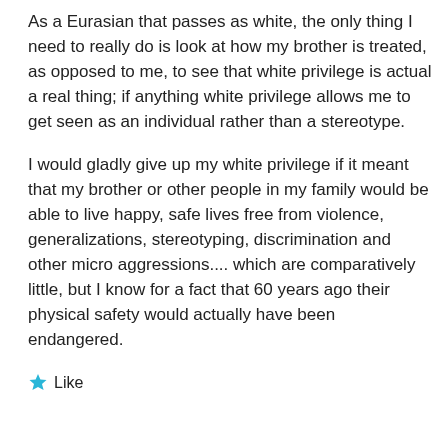As a Eurasian that passes as white, the only thing I need to really do is look at how my brother is treated, as opposed to me, to see that white privilege is actual a real thing; if anything white privilege allows me to get seen as an individual rather than a stereotype.
I would gladly give up my white privilege if it meant that my brother or other people in my family would be able to live happy, safe lives free from violence, generalizations, stereotyping, discrimination and other micro aggressions.... which are comparatively little, but I know for a fact that 60 years ago their physical safety would actually have been endangered.
★ Like